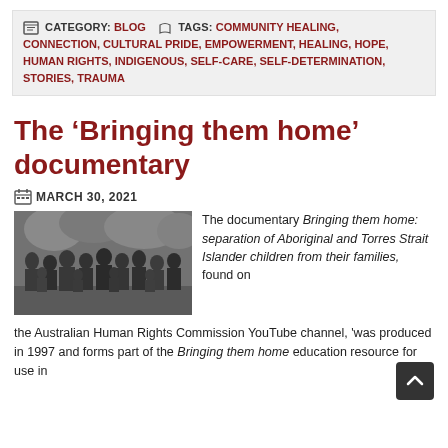CATEGORY: BLOG  TAGS: COMMUNITY HEALING, CONNECTION, CULTURAL PRIDE, EMPOWERMENT, HEALING, HOPE, HUMAN RIGHTS, INDIGENOUS, SELF-CARE, SELF-DETERMINATION, STORIES, TRAUMA
The ‘Bringing them home’ documentary
MARCH 30, 2021
[Figure (photo): Black and white photograph of a group of Aboriginal children standing together outdoors with trees in the background.]
The documentary Bringing them home: separation of Aboriginal and Torres Strait Islander children from their families, found on the Australian Human Rights Commission YouTube channel, ‘was produced in 1997 and forms part of the Bringing them home education resource for use in